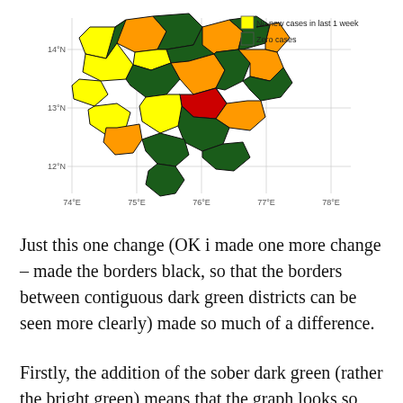[Figure (map): Choropleth map of Karnataka districts colored by COVID case status: red (active cases), orange (some cases), yellow (no new cases in last 1 week), dark green (zero cases). Latitude lines at 12N, 13N, 14N and longitude lines at 74E, 75E, 76E, 77E, 78E. Legend shows yellow=No new cases in last 1 week, dark green=Zero cases.]
Just this one change (OK i made one more change – made the borders black, so that the borders between contiguous dark green districts can be seen more clearly) made so much of a difference.
Firstly, the addition of the sober dark green (rather the bright green) means that the graph looks so much better on the eye now. The same